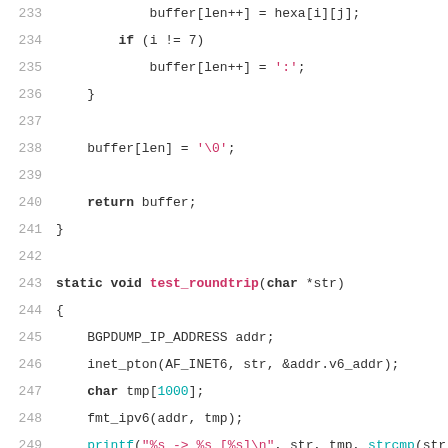[Figure (screenshot): Source code listing in C, lines 233-255, showing functions for formatting IPv6 addresses including test_roundtrip and test_fmt_ip functions]